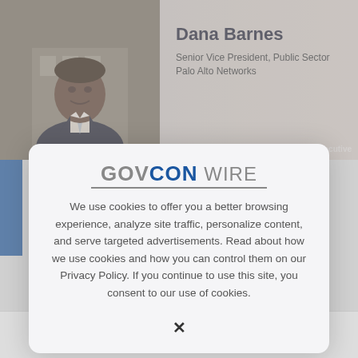[Figure (photo): Headshot of Dana Barnes, African American man in dark suit and tie, against blurred building backdrop]
Dana Barnes
Senior Vice President, Public Sector
Palo Alto Networks
[Figure (logo): GovConWire logo with underline, displayed in modal cookie consent dialog]
We use cookies to offer you a better browsing experience, analyze site traffic, personalize content, and serve targeted advertisements. Read about how we use cookies and how you can control them on our Privacy Policy. If you continue to use this site, you consent to our use of cookies.
[Figure (logo): Palo Alto Networks logo at bottom of page — orange chevron icon and 'paloalto' wordmark with registered trademark symbol]